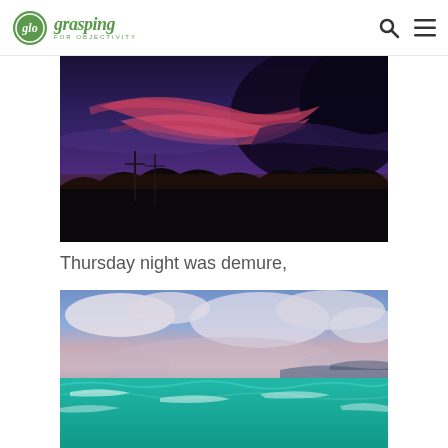glo grasping FOR OBJECTIVITY
[Figure (photo): Dramatic twilight sky with vivid pink and purple clouds over a dark hillside with utility poles and silhouetted vegetation]
Thursday night was demure,
[Figure (photo): Beach scene at dusk with turquoise waves, soft pink and blue sky with scattered clouds, and distant hills on the horizon]